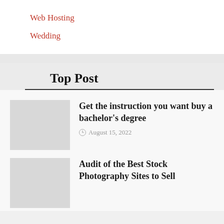Web Hosting
Wedding
Top Post
Get the instruction you want buy a bachelor's degree
August 15, 2022
Audit of the Best Stock Photography Sites to Sell